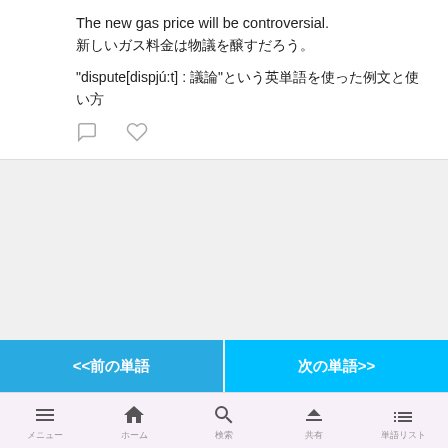The new gas price will be controversial. 新しいガス料金は物議を醸すだろう。
"dispute[dispjú:t] : 議論"という英単語を含む例文と使い方
ラーニングサムライ @learningsamurai · 8月18日
英単語959個目
put off : 延期する
The party cannot be put off.
@learningsamuraiをフォローする
<<前の単語
次の単語>>